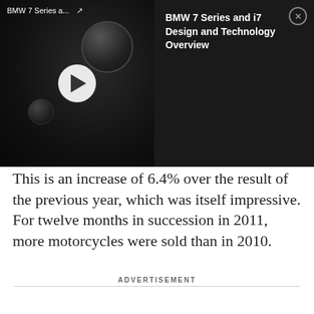[Figure (screenshot): BMW 7 Series video overlay with dark car interior thumbnail showing knobs/dials, a white play button circle, video title 'BMW 7 Series and i7 Design and Technology Overview', and a close button. Top bar shows 'BMW 7 Series a...' with share icon.]
This is an increase of 6.4% over the result of the previous year, which was itself impressive. For twelve months in succession in 2011, more motorcycles were sold than in 2010.
ADVERTISEMENT